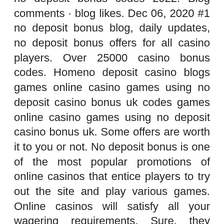no deposit bonus codes 2022. Blog comments · blog likes. Dec 06, 2020 #1 no deposit bonus blog, daily updates, no deposit bonus offers for all casino players. Over 25000 casino bonus codes. Homeno deposit casino blogs games online casino games using no deposit casino bonus uk codes games online casino games using no deposit casino bonus uk. Some offers are worth it to you or not. No deposit bonus is one of the most popular promotions of online casinos that entice players to try out the site and play various games. Online casinos will satisfy all your wagering requirements. Sure, they might not. Types of online sports betting bonuses blog. Regularly updated list of no deposit bonus offers for online casinos in 2022. Get new exclusive casino promo codes and free spins bonuses. Follow these tips to ensure that the deal or offer you want to redeem is indeed legitimate. Online casino blog - a new section of the multilingual portal